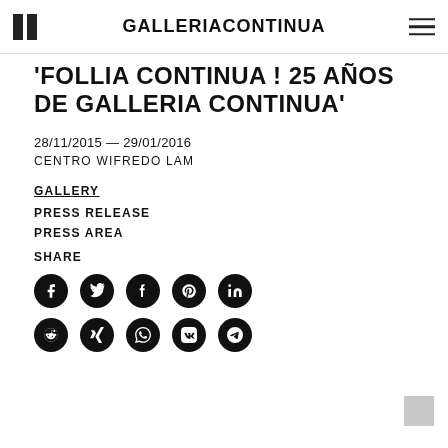GALLERIACONTINUA
'FOLLIA CONTINUA ! 25 AÑOS DE GALLERIA CONTINUA'
28/11/2015 — 29/01/2016
CENTRO WIFREDO LAM
GALLERY
PRESS RELEASE
PRESS AREA
SHARE